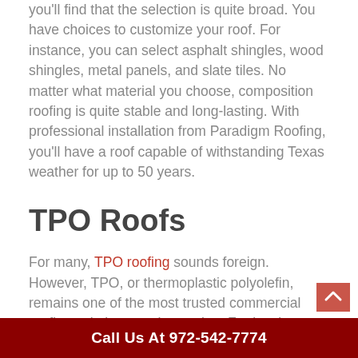you'll find that the selection is quite broad. You have choices to customize your roof. For instance, you can select asphalt shingles, wood shingles, metal panels, and slate tiles. No matter what material you choose, composition roofing is quite stable and long-lasting. With professional installation from Paradigm Roofing, you'll have a roof capable of withstanding Texas weather for up to 50 years.
TPO Roofs
For many, TPO roofing sounds foreign. However, TPO, or thermoplastic polyolefin, remains one of the most trusted commercial roofing solutions on the market. For local businesses, TPO roofing in Southlake, TX, is a smart business choice. It is a flexible, affordable, and easy-to-install a roofing
Call Us At 972-542-7774